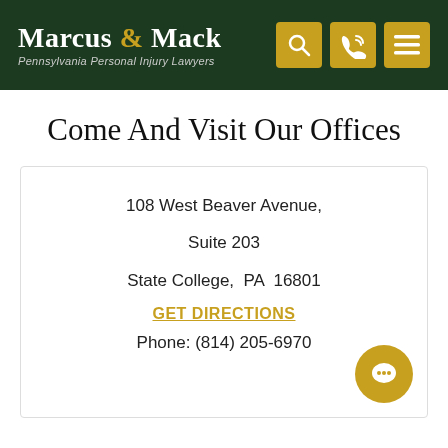Marcus & Mack — Pennsylvania Personal Injury Lawyers
Come And Visit Our Offices
108 West Beaver Avenue,
Suite 203
State College, PA  16801
GET DIRECTIONS
Phone: (814) 205-6970